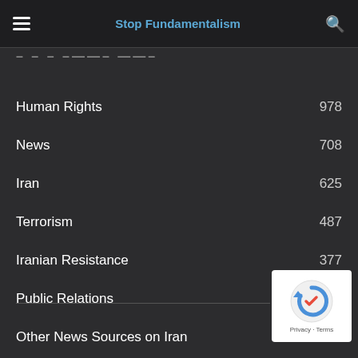Stop Fundamentalism
— — — ——— ——— ——
Human Rights 978
News 708
Iran 625
Terrorism 487
Iranian Resistance 377
Public Relations 324
Other News Sources on Iran 272
Iran Uprising 243
Conferences 221
[Figure (other): reCAPTCHA widget with circular arrow logo and Privacy - Terms text]